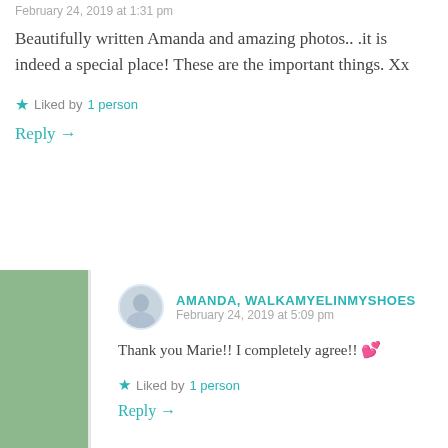February 24, 2019 at 1:31 pm
Beautifully written Amanda and amazing photos.. .it is indeed a special place! These are the important things. Xx
Liked by 1 person
Reply →
AMANDA, WALKAMYELINMYSHOES
February 24, 2019 at 5:09 pm
Thank you Marie!! I completely agree!! 💕
Liked by 1 person
Reply →